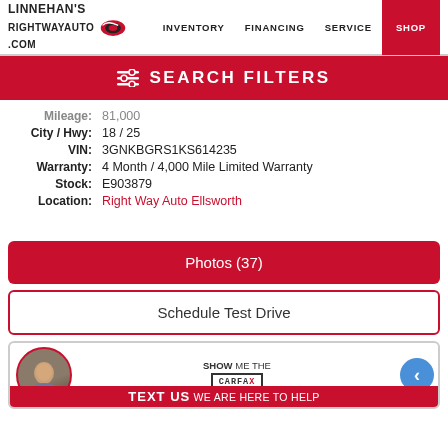Linnehan's RightWayAuto.com — INVENTORY | FINANCING | SERVICE | SHOP
SEARCH FILTERS
Mileage: 81,000
City / Hwy: 18 / 25
VIN: 3GNKBGRS1KS614235
Warranty: 4 Month / 4,000 Mile Limited Warranty
Stock: E903879
Location: Right Way Auto Ellsworth
Photos (37)
Schedule Test Drive
SHOW ME THE CARFAX
TEXT US WE ARE HERE TO HELP